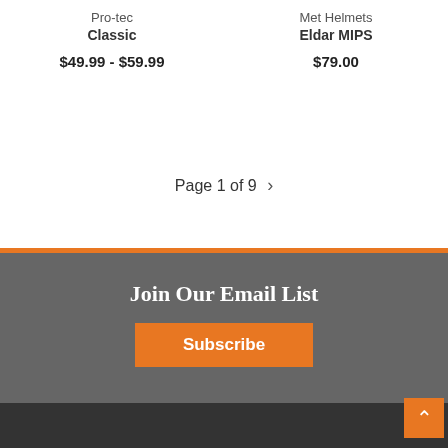Pro-tec Classic $49.99 - $59.99
Met Helmets Eldar MIPS $79.00
Page 1 of 9
Join Our Email List
Subscribe